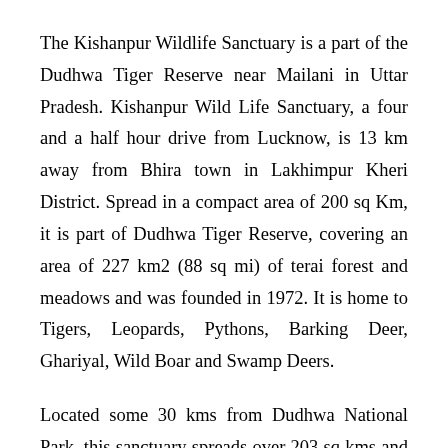The Kishanpur Wildlife Sanctuary is a part of the Dudhwa Tiger Reserve near Mailani in Uttar Pradesh. Kishanpur Wild Life Sanctuary, a four and a half hour drive from Lucknow, is 13 km away from Bhira town in Lakhimpur Kheri District. Spread in a compact area of 200 sq Km, it is part of Dudhwa Tiger Reserve, covering an area of 227 km2 (88 sq mi) of terai forest and meadows and was founded in 1972. It is home to Tigers, Leopards, Pythons, Barking Deer, Ghariyal, Wild Boar and Swamp Deers.
Located some 30 kms from Dudhwa National Park, this sanctuary spreads over 203 sq kms and lies along the banks of the Sharada. The forests of Dudhwa National Park and Kishanpur Wildlife Sanctuary are not contiguous and there is agricultural land in between. Kishanpur's vegetation resembles Dudhwa's, with dense riparian forests and moist deciduous trees like sal, teak and jamun. The open